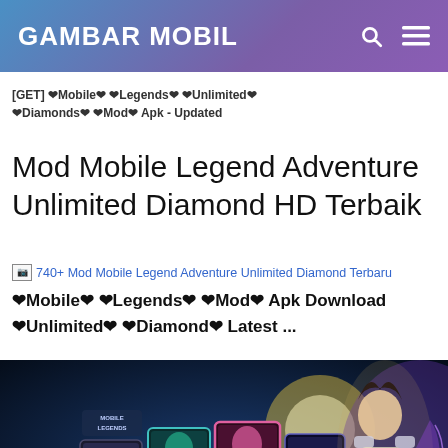GAMBAR MOBIL
[GET] ❤Mobile❤ ❤Legends❤ ❤Unlimited❤ ❤Diamonds❤ ❤Mod❤ Apk - Updated
Mod Mobile Legend Adventure Unlimited Diamond HD Terbaik
[Figure (screenshot): Broken image placeholder link: 740+ Mod Mobile Legend Adventure Unlimited Diamond Terbaru]
❤Mobile❤ ❤Legends❤ ❤Mod❤ Apk Download ❤Unlimited❤ ❤Diamond❤ Latest ...
[Figure (screenshot): Mobile Legends game screenshot showing character cards and a female warrior character]